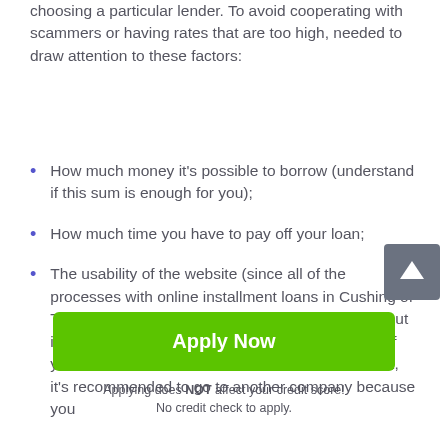choosing a particular lender. To avoid cooperating with scammers or having rates that are too high, needed to draw attention to these factors:
How much money it's possible to borrow (understand if this sum is enough for you);
How much time you have to pay off your loan;
The usability of the website (since all of the processes with online installment loans in Cushing of Texas you need to do online, it's essential to find out if you can use the website without any problems. If you don't understand how the main functions work, it's recommended to go to another company because you
[Figure (other): Scroll-to-top button: dark gray square with white upward arrow icon]
Apply Now
Applying does NOT affect your credit score!
No credit check to apply.